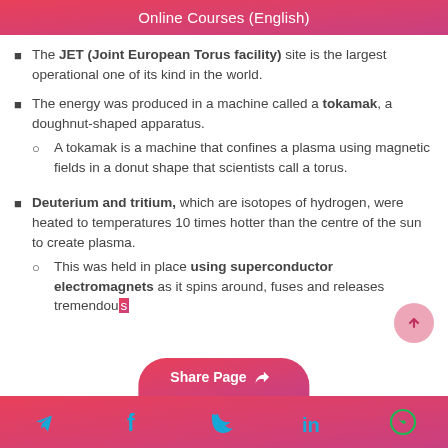Online Courses (English)
The JET (Joint European Torus facility) site is the largest operational one of its kind in the world.
The energy was produced in a machine called a tokamak, a doughnut-shaped apparatus.
A tokamak is a machine that confines a plasma using magnetic fields in a donut shape that scientists call a torus.
Deuterium and tritium, which are isotopes of hydrogen, were heated to temperatures 10 times hotter than the centre of the sun to create plasma.
This was held in place using superconductor electromagnets as it spins around, fuses and releases tremendous
Share Page